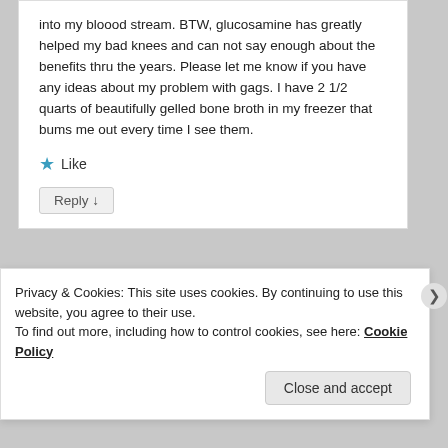into my bloood stream. BTW, glucosamine has greatly helped my bad knees and can not say enough about the benefits thru the years. Please let me know if you have any ideas about my problem with gags. I have 2 1/2 quarts of beautifully gelled bone broth in my freezer that bums me out every time I see them.
★ Like
Reply ↓
Pingback: Czy i który rosół jest zawsze zdrowy? |
Privacy & Cookies: This site uses cookies. By continuing to use this website, you agree to their use. To find out more, including how to control cookies, see here: Cookie Policy
Close and accept